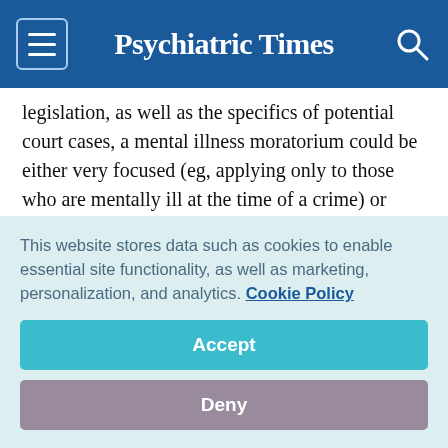Psychiatric Times
legislation, as well as the specifics of potential court cases, a mental illness moratorium could be either very focused (eg, applying only to those who are mentally ill at the time of a crime) or very broad to include any one who suffers from a mental illness at any part of the death penalty procedure.
If it applies to any stage of a death penalty case, it would be hard to imagine how a death row inmate or some other
This website stores data such as cookies to enable essential site functionality, as well as marketing, personalization, and analytics. Cookie Policy
Accept
Deny